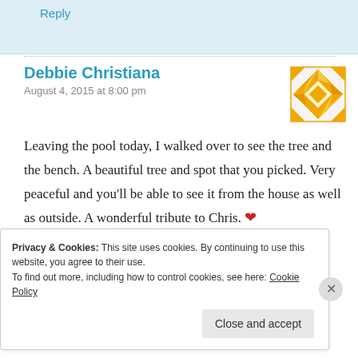Reply
Debbie Christiana
August 4, 2015 at 8:00 pm
Leaving the pool today, I walked over to see the tree and the bench. A beautiful tree and spot that you picked. Very peaceful and you'll be able to see it from the house as well as outside. A wonderful tribute to Chris. ❤
Liked by 1 person
Privacy & Cookies: This site uses cookies. By continuing to use this website, you agree to their use.
To find out more, including how to control cookies, see here: Cookie Policy
Close and accept